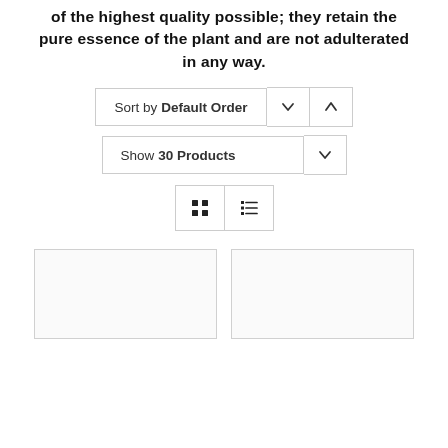of the highest quality possible; they retain the pure essence of the plant and are not adulterated in any way.
Sort by Default Order
Show 30 Products
[Figure (screenshot): View toggle buttons: grid view and list view icons]
[Figure (screenshot): Two product card placeholders shown side by side at the bottom of the page]